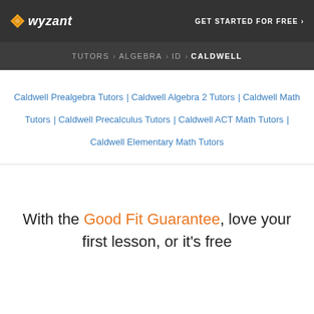wyzant — GET STARTED FOR FREE ›
TUTORS › ALGEBRA › ID › CALDWELL
Caldwell Prealgebra Tutors | Caldwell Algebra 2 Tutors | Caldwell Math Tutors | Caldwell Precalculus Tutors | Caldwell ACT Math Tutors | Caldwell Elementary Math Tutors
With the Good Fit Guarantee, love your first lesson, or it's free